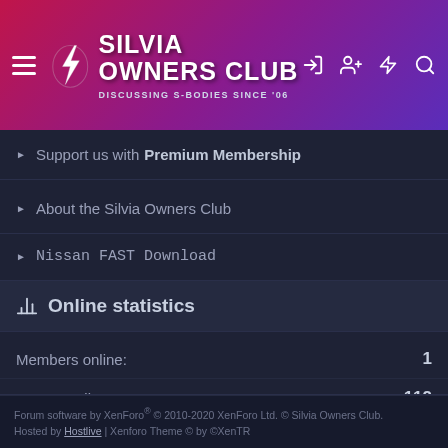SILVIA OWNERS CLUB — Discussing S-bodies since '06
Support us with Premium Membership
About the Silvia Owners Club
Nissan FAST Download
Online statistics
|  |  |
| --- | --- |
| Members online: | 1 |
| Guests online: | 112 |
| Total visitors: | 113 |
Totals may include hidden visitors.
Forum software by XenForo® © 2010-2020 XenForo Ltd. © Silvia Owners Club. Hosted by Hostlive | Xenforo Theme © by ©XenTR